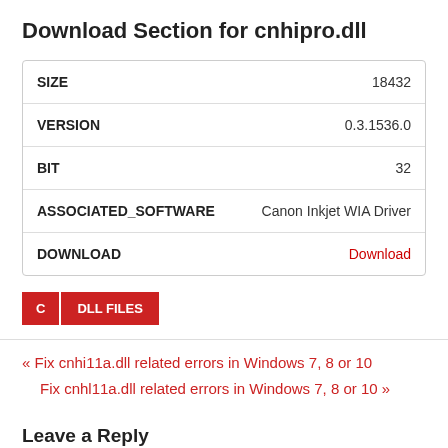Download Section for cnhipro.dll
| KEY | VALUE |
| --- | --- |
| SIZE | 18432 |
| VERSION | 0.3.1536.0 |
| BIT | 32 |
| ASSOCIATED_SOFTWARE | Canon Inkjet WIA Driver |
| DOWNLOAD | Download |
C
DLL FILES
« Fix cnhi11a.dll related errors in Windows 7, 8 or 10
Fix cnhl11a.dll related errors in Windows 7, 8 or 10 »
Leave a Reply
Your email address will not be published. Required